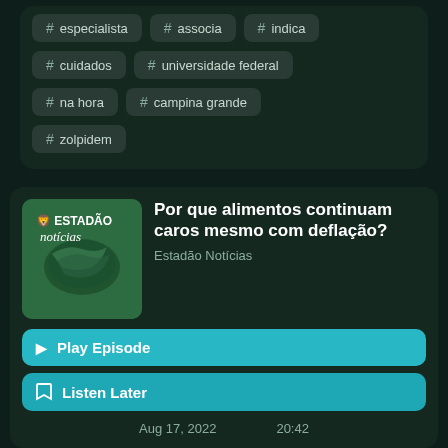# especialista
# associa
# indica
# cuidados
# universidade federal
# na hora
# campina grande
# zolpidem
[Figure (logo): Estadão Notícias podcast logo — green background with rolled newspaper and text Estadão notícias]
Por que alimentos continuam caros mesmo com deflação?
Estadão Notícias
▶ Play Episode
🔖 Listen Later
Aug 17, 2022    20:42